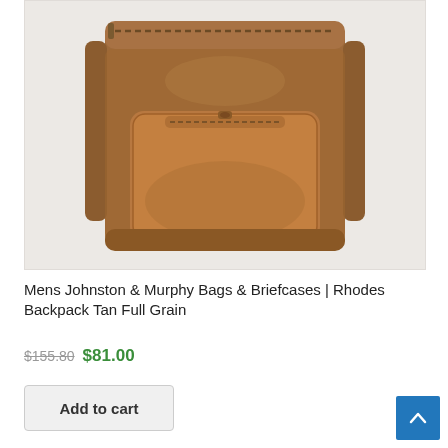[Figure (photo): A tan full grain leather backpack (Rhodes Backpack) shown from the front against a light gray background. The backpack has a top zipper, a front zippered pocket with a handle, and appears to be a structured design.]
Mens Johnston & Murphy Bags & Briefcases | Rhodes Backpack Tan Full Grain
$155.80 $81.00
Add to cart